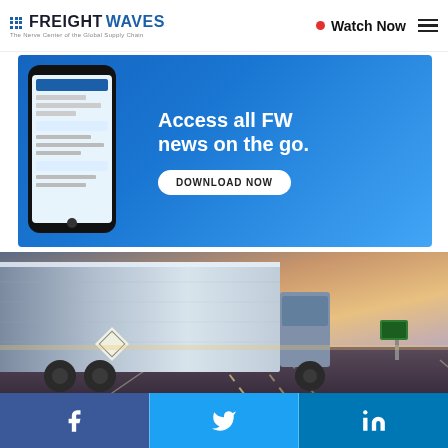FREIGHTWAVES — The Nerve Center of the Global Supply Chain | Watch Now
[Figure (screenshot): FreightWaves app advertisement banner: blue gradient background with smartphone mockup on left and text 'Access all FW news on the go. DOWNLOAD NOW' on right]
[Figure (photo): Semi-truck trailer photographed from low angle on highway at dusk with dramatic sky in background]
[Figure (infographic): Social media share bar with Facebook, Twitter/X, and LinkedIn icons on blue backgrounds]